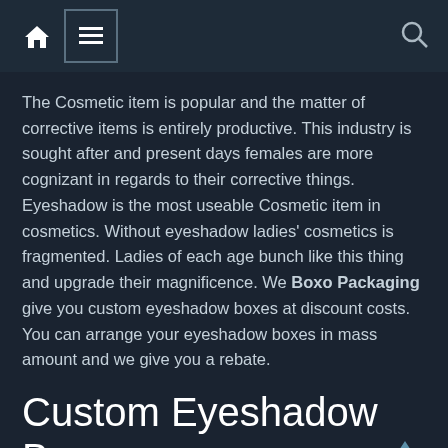Navigation bar with home icon, menu icon, and search icon
The Cosmetic item is popular and the matter of corrective items is entirely productive. This industry is sought after and present days females are more cognizant in regards to their corrective things. Eyeshadow is the most useable Cosmetic item in cosmetics. Without eyeshadow ladies' cosmetics is fragmented. Ladies of each age bunch like this thing and upgrade their magnificence. We Boxo Packaging give you custom eyeshadow boxes at discount costs. You can arrange your eyeshadow boxes in mass amount and we give you a rebate.
Custom Eyeshadow Boxes